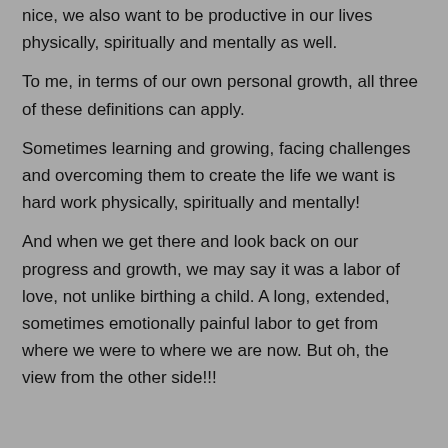nice, we also want to be productive in our lives physically, spiritually and mentally as well.
To me, in terms of our own personal growth, all three of these definitions can apply.
Sometimes learning and growing, facing challenges and overcoming them to create the life we want is hard work physically, spiritually and mentally!
And when we get there and look back on our progress and growth, we may say it was a labor of love, not unlike birthing a child. A long, extended, sometimes emotionally painful labor to get from where we were to where we are now. But oh, the view from the other side!!!